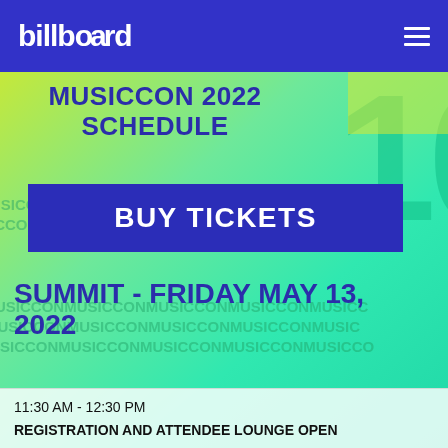billboard
MUSICCON 2022 SCHEDULE
BUY TICKETS
SUMMIT - FRIDAY MAY 13, 2022
11:30 AM - 12:30 PM
REGISTRATION AND ATTENDEE LOUNGE OPEN